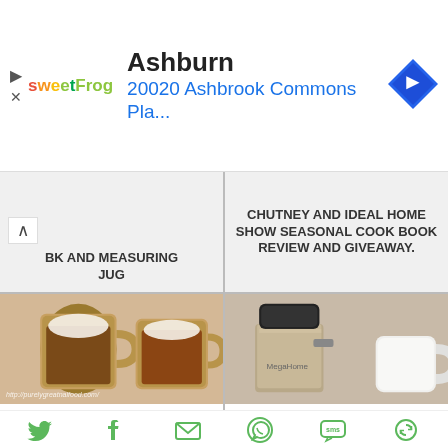[Figure (infographic): Advertisement banner: sweetFrog logo on left, text 'Ashburn' and '20020 Ashbrook Commons Pla...' in blue, navigation arrow icon on right]
BK AND MEASURING JUG
CHUTNEY AND IDEAL HOME SHOW SEASONAL COOK BOOK REVIEW AND GIVEAWAY.
[Figure (photo): Two glass mugs of cinnamon coffee with frothy tops, with URL text overlay http://purelygreatnalfood.com/]
CINNAMON COFFEE AND A CINNAMON HILL CINNAMON REVIEW AND GIVEAWAY
[Figure (photo): MegaHome water distiller - metallic canister and white mug on right]
MEGAHOME WATER DISTILLER REVIEW AND GIVEAWAY
[Figure (infographic): Social sharing bar with icons: Twitter, Facebook, Email, WhatsApp, SMS, and another icon - all in green]